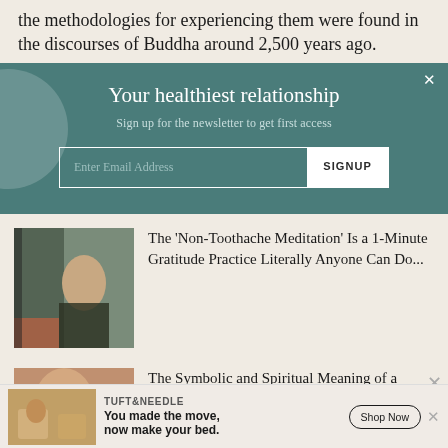the methodologies for experiencing them were found in the discourses of Buddha around 2,500 years ago.
Your healthiest relationship
Sign up for the newsletter to get first access
Enter Email Address  SIGNUP
[Figure (photo): Woman sitting by window in meditative pose, flowers nearby]
The 'Non-Toothache Meditation' Is a 1-Minute Gratitude Practice Literally Anyone Can Do...
[Figure (photo): Hands holding small object, spiritual context]
The Symbolic and Spiritual Meaning of a
[Figure (photo): Advertisement: Tuft & Needle - person on bed]
TUFT & NEEDLE You made the move, now make your bed.  Shop Now